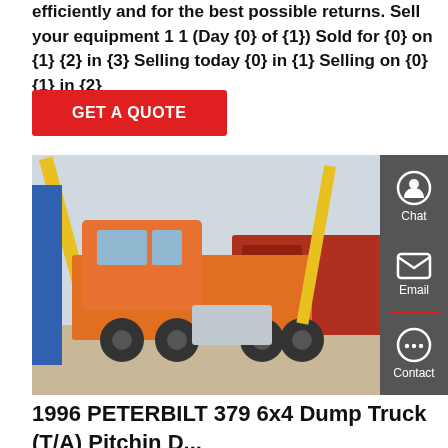efficiently and for the best possible returns. Sell your equipment 1 1 (Day {0} of {1}) Sold for {0} on {1} {2} in {3} Selling today {0} in {1} Selling on {0} {1} in {2}
GET A QUOTE
[Figure (photo): Photo of an orange semi-truck/tractor unit parked in a yard with yellow cranes in the background, along with red trucks]
1996 PETERBILT 379 6x4 Dump Truck (T/A) Pitchin D...